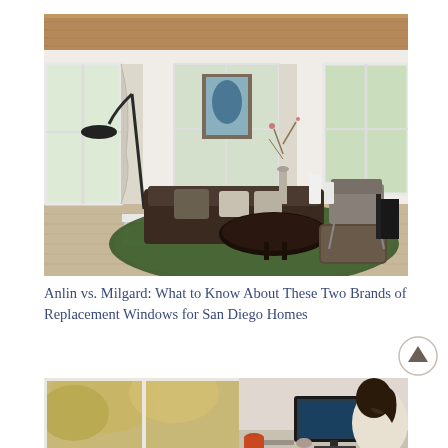[Figure (photo): Interior living room photo showing large windows, dark leather sofa, oval coffee table on green rug, floor lamp, chair, and wooden ceiling]
Anlin vs. Milgard: What to Know About These Two Brands of Replacement Windows for San Diego Homes
[Figure (photo): Woman sitting at desk with iMac computer near large window with autumn trees visible outside]